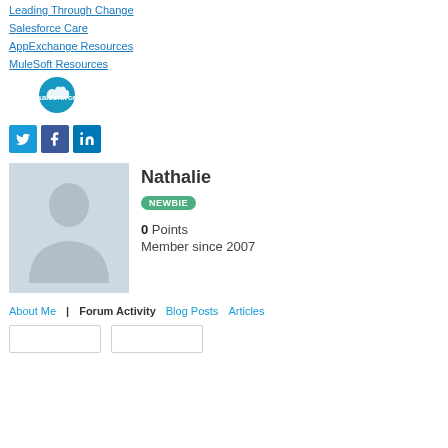Leading Through Change
Salesforce Care
AppExchange Resources
MuleSoft Resources
[Figure (logo): Salesforce cloud logo in teal/blue circle]
[Figure (logo): Twitter, Facebook, LinkedIn social media icons in blue squares]
[Figure (photo): Default user avatar silhouette on light blue-gray background]
Nathalie
NEWBIE
0 Points
Member since 2007
About Me | Forum Activity Blog Posts Articles